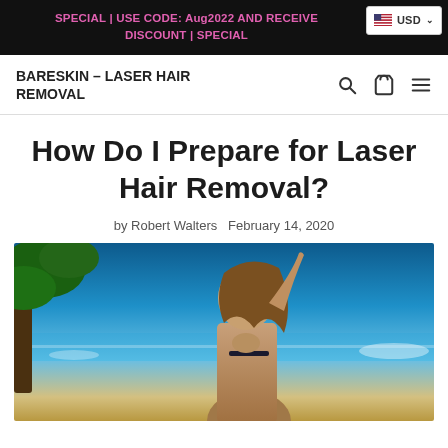SPECIAL | USE CODE: Aug2022 AND RECEIVE DISCOUNT | SPECIAL
USD
BARESKIN – LASER HAIR REMOVAL
How Do I Prepare for Laser Hair Removal?
by Robert Walters   February 14, 2020
[Figure (photo): Woman in bikini at beach with blue sky, ocean, and palm trees in background]